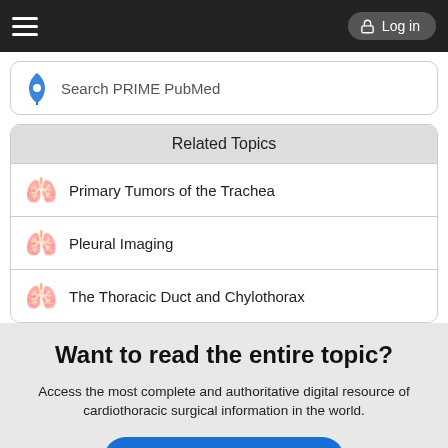Log in
Search PRIME PubMed
Related Topics
Primary Tumors of the Trachea
Pleural Imaging
The Thoracic Duct and Chylothorax
Want to read the entire topic?
Access the most complete and authoritative digital resource of cardiothoracic surgical information in the world.
Purchase subscription
I'm already a subscriber
Browse sample topics